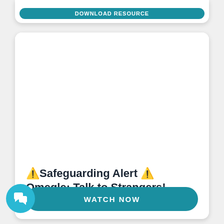[Figure (screenshot): Partial top card with a teal 'DOWNLOAD RESOURCE' button visible at the top of the page]
⚠️Safeguarding Alert ⚠️ Omegle: Talk to Strangers! Platform
WATCH NOW